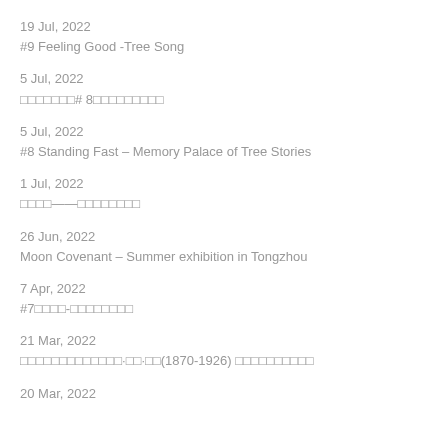19 Jul, 2022
#9 Feeling Good -Tree Song
5 Jul, 2022
树语系列# 8树语系列树语系列
5 Jul, 2022
#8 Standing Fast – Memory Palace of Tree Stories
1 Jul, 2022
树语——树语树语树语
26 Jun, 2022
Moon Covenant – Summer exhibition in Tongzhou
7 Apr, 2022
#7树语-树语树语树语
21 Mar, 2022
树语树语树语树语树语·树语·树语(1870-1926) 树语树语树语树语
20 Mar, 2022